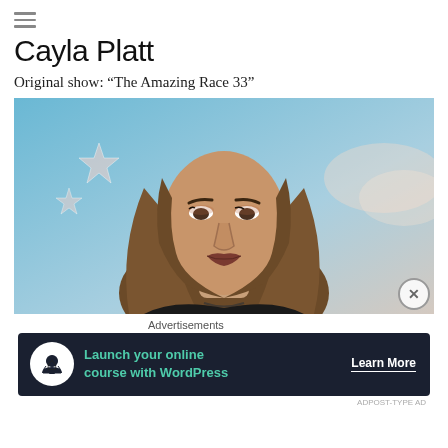[Figure (other): Hamburger menu icon (three horizontal lines)]
Cayla Platt
Original show: “The Amazing Race 33”
[Figure (photo): Portrait photo of Cayla Platt, a young woman with long brown hair, wearing makeup, against a blue sky background with stars]
Advertisements
[Figure (other): Advertisement banner: Launch your online course with WordPress. Learn More button.]